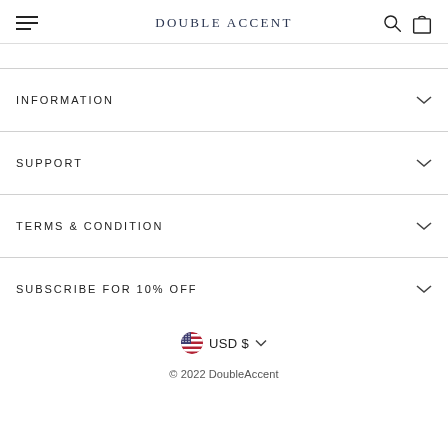DOUBLE ACCENT
INFORMATION
SUPPORT
TERMS & CONDITION
SUBSCRIBE FOR 10% OFF
USD $
© 2022 DoubleAccent